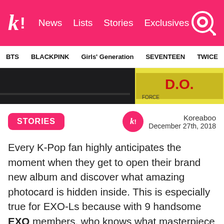k! News Lists Stories Exclusives
BTS BLACKPINK Girls' Generation SEVENTEEN TWICE
[Figure (photo): Header image strip showing K-pop album content and D.O. label]
STORIES
Koreaboo
December 27th, 2018
Every K-Pop fan highly anticipates the moment when they get to open their brand new album and discover what amazing photocard is hidden inside. This is especially true for EXO-Ls because with 9 handsome EXO members, who knows what masterpiece you'll end up with!
[Figure (photo): Bottom partial image showing a crescent moon logo and pipes/wall background]